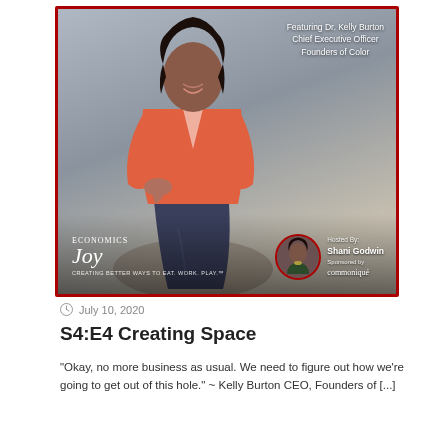[Figure (photo): Podcast episode card image featuring a woman in a coral/salmon blazer and jeans, crouching and smiling. Text overlay reads 'Featuring Dr. Kelly Burton, Chief Executive Officer, Founders of Color'. Bottom left shows 'Joy Economics' logo with tagline 'Creating Better Ways to Eat. Work. Play.' Bottom right shows circular host photo of Shani Godwin with 'Hosted By: Shani Godwin, Sponsored by communiqué'. Framed with a dark red border.]
July 10, 2020
S4:E4 Creating Space
"Okay, no more business as usual. We need to figure out how we're going to get out of this hole." ~ Kelly Burton CEO, Founders of [...]